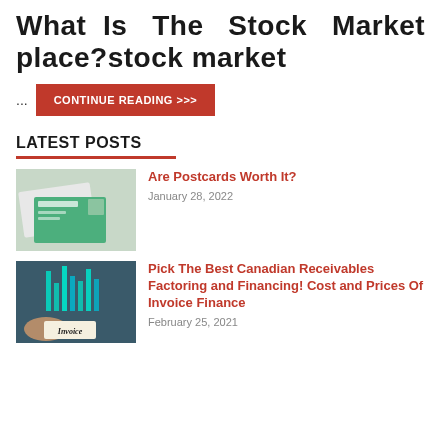What Is The Stock Market place?stock market
...
CONTINUE READING >>>
LATEST POSTS
[Figure (photo): Postcards or business cards with green design stacked on white background]
Are Postcards Worth It?
January 28, 2022
[Figure (photo): Hand pointing at bar chart with Invoice label in foreground]
Pick The Best Canadian Receivables Factoring and Financing! Cost and Prices Of Invoice Finance
February 25, 2021